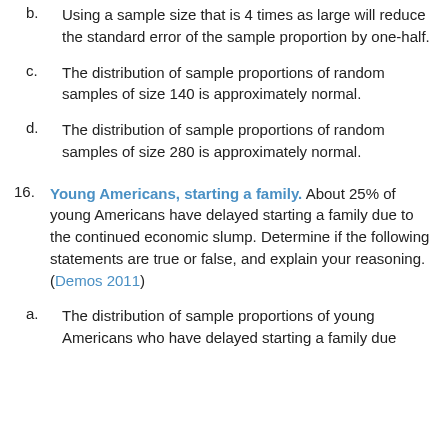b. Using a sample size that is 4 times as large will reduce the standard error of the sample proportion by one-half.
c. The distribution of sample proportions of random samples of size 140 is approximately normal.
d. The distribution of sample proportions of random samples of size 280 is approximately normal.
16. Young Americans, starting a family. About 25% of young Americans have delayed starting a family due to the continued economic slump. Determine if the following statements are true or false, and explain your reasoning. (Demos 2011)
a. The distribution of sample proportions of young Americans who have delayed starting a family due